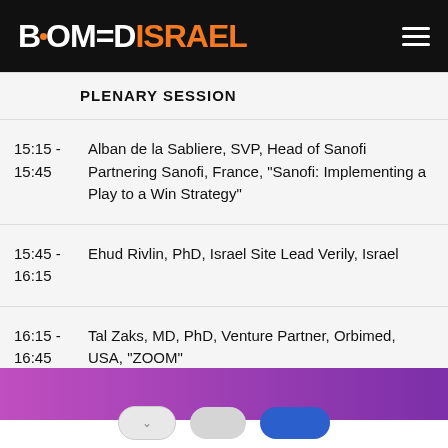[Figure (logo): BioMedIsrael logo on black header bar with hamburger menu icon]
PLENARY SESSION
15:15 - 15:45  Alban de la Sabliere, SVP, Head of Sanofi Partnering Sanofi, France, "Sanofi: Implementing a Play to a Win Strategy"
15:45 - 16:15  Ehud Rivlin, PhD, Israel Site Lead Verily, Israel
16:15 - 16:45  Tal Zaks, MD, PhD, Venture Partner, Orbimed, USA, "ZOOM"